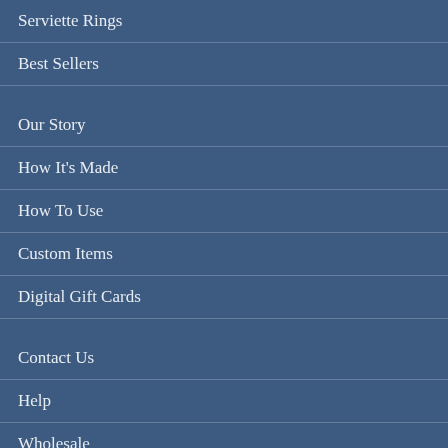Serviette Rings
Best Sellers
Our Story
How It's Made
How To Use
Custom Items
Digital Gift Cards
Contact Us
Help
Wholesale
Returns